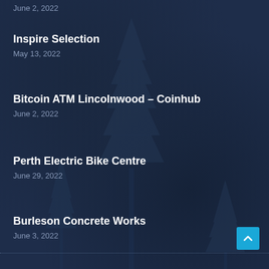June 2, 2022
Inspire Selection
May 13, 2022
Bitcoin ATM Lincolnwood – Coinhub
June 2, 2022
Perth Electric Bike Centre
June 29, 2022
Burleson Concrete Works
June 3, 2022